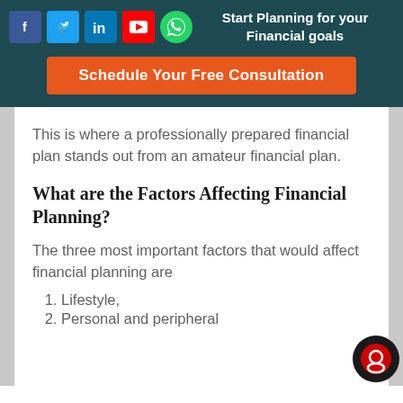Start Planning for your Financial goals
Schedule Your Free Consultation
This is where a professionally prepared financial plan stands out from an amateur financial plan.
What are the Factors Affecting Financial Planning?
The three most important factors that would affect financial planning are
1. Lifestyle,
2. Personal and peripheral